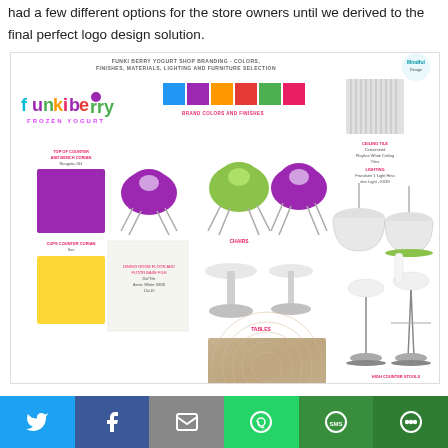had a few different options for the store owners until we derived to the final perfect logo design solution.
[Figure (infographic): Funki Berry Yogurt Shop Branding board showing colors, finishes, materials, lighting and furniture selection including the Funkiberry Frozen Yogurt logo, color swatches (blue, purple, orange, red, green, magenta), chairs (purple and green), tables, counter stools, ceiling tile, lighting fixtures, purple Corian swatch, yellow Corian swatch, white tile swatch, and satin metal finish sample.]
[Figure (infographic): Social media sharing bar with Twitter (blue), Facebook (dark blue), Email (gray), WhatsApp (green), SMS (dark green), and More (dark green) buttons.]